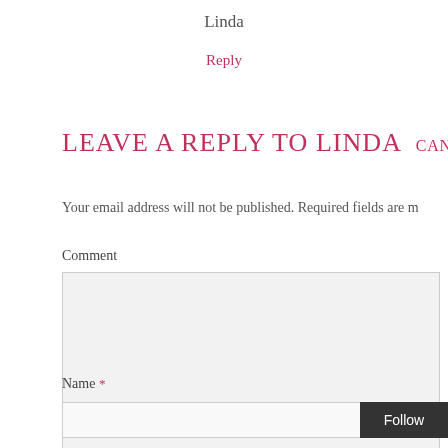Linda
Reply
LEAVE A REPLY TO LINDA  CANCEL R
Your email address will not be published. Required fields are m
Comment
Name *
Follow